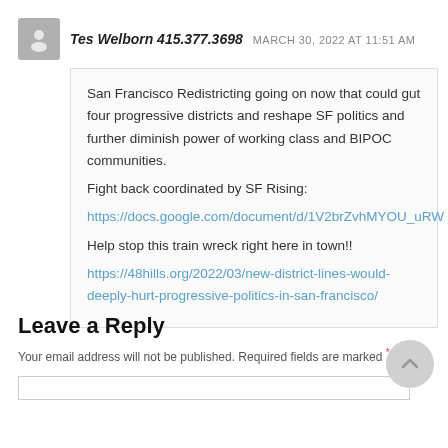Tes Welborn 415.377.3698  MARCH 30, 2022 AT 11:51 AM
San Francisco Redistricting going on now that could gut four progressive districts and reshape SF politics and further diminish power of working class and BIPOC communities.
Fight back coordinated by SF Rising:
https://docs.google.com/document/d/1V2brZvhMYOU_uRW
Help stop this train wreck right here in town!!
https://48hills.org/2022/03/new-district-lines-would-deeply-hurt-progressive-politics-in-san-francisco/
Leave a Reply
Your email address will not be published. Required fields are marked *